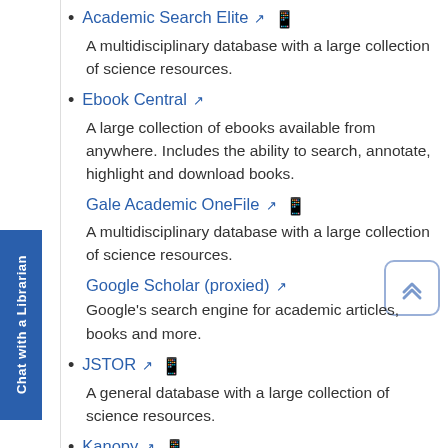Academic Search Elite — A multidisciplinary database with a large collection of science resources.
Ebook Central — A large collection of ebooks available from anywhere. Includes the ability to search, annotate, highlight and download books.
Gale Academic OneFile — A multidisciplinary database with a large collection of science resources.
Google Scholar (proxied) — Google's search engine for academic articles, books and more.
JSTOR — A general database with a large collection of science resources.
Kanopy